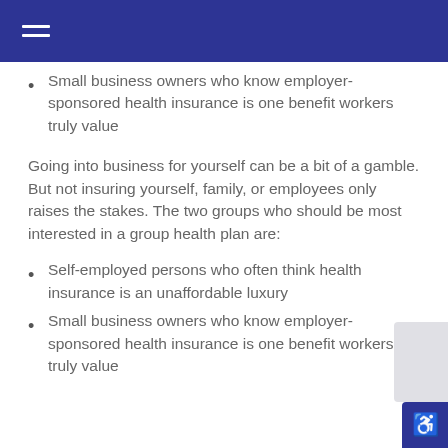Small business owners who know employer-sponsored health insurance is one benefit workers truly value
Going into business for yourself can be a bit of a gamble. But not insuring yourself, family, or employees only raises the stakes. The two groups who should be most interested in a group health plan are:
Self-employed persons who often think health insurance is an unaffordable luxury
Small business owners who know employer-sponsored health insurance is one benefit workers truly value